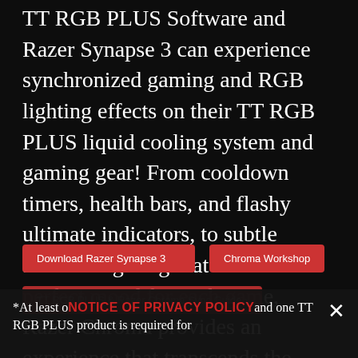TT RGB PLUS Software and Razer Synapse 3 can experience synchronized gaming and RGB lighting effects on their TT RGB PLUS liquid cooling system and gaming gear! From cooldown timers, health bars, and flashy ultimate indicators, to subtle ambient lighting that sets the perfect mood for each game, Razer Chroma provides an experience that transcends the screen and into your full setup, for a truly immersive experience.
Download Razer Synapse 3
Chroma Workshop
TT RGB PLUS & Razer Chroma Sync Guide
*At least one NOTICE OF PRIVACY POLICY and one TT RGB PLUS product is required for